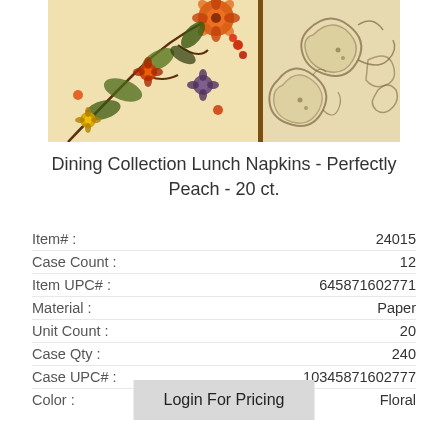[Figure (photo): Product image showing two floral/paisley patterned napkins side by side — left side with orange and red floral motif on cream background, right side with brown paisley pattern on cream background, separated by a brown vertical divider bar.]
Dining Collection Lunch Napkins - Perfectly Peach - 20 ct.
| Item# : | 24015 |
| Case Count : | 12 |
| Item UPC# : | 645871602771 |
| Material : | Paper |
| Unit Count : | 20 |
| Case Qty : | 240 |
| Case UPC# : | 10345871602777 |
| Color : | Floral |
Login For Pricing